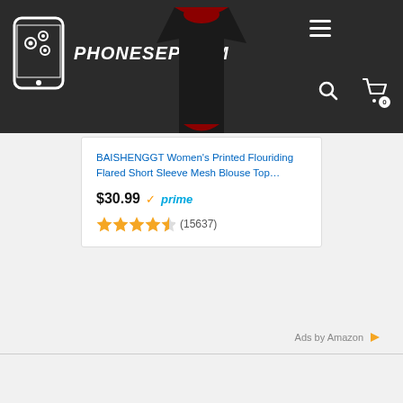PHONESEP.COM
[Figure (screenshot): Amazon ad card showing a women's blouse product with price $30.99, Prime badge, and 4.5 star rating with 15637 reviews]
Ads by Amazon